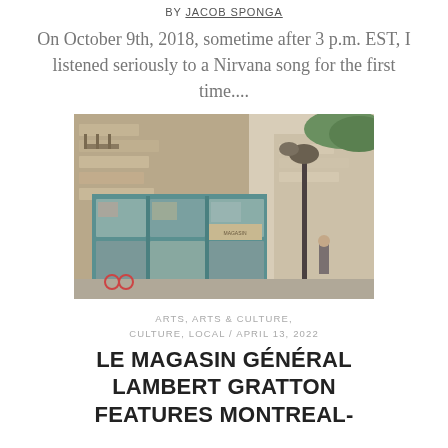BY JACOB SPONGA
On October 9th, 2018, sometime after 3 p.m. EST, I listened seriously to a Nirvana song for the first time....
[Figure (illustration): Watercolor or colored pencil illustration of a corner store building with teal/green window frames, stone facade, a street lamp, and figures visible in the background. The signage reads something about a general store.]
ARTS, ARTS & CULTURE, CULTURE, LOCAL / APRIL 13, 2022
LE MAGASIN GÉNÉRAL LAMBERT GRATTON FEATURES MONTREAL-